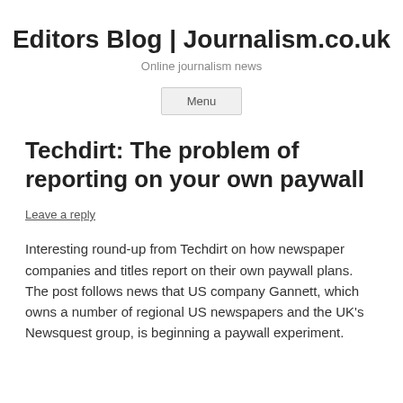Editors Blog | Journalism.co.uk
Online journalism news
Menu
Techdirt: The problem of reporting on your own paywall
Leave a reply
Interesting round-up from Techdirt on how newspaper companies and titles report on their own paywall plans. The post follows news that US company Gannett, which owns a number of regional US newspapers and the UK's Newsquest group, is beginning a paywall experiment.